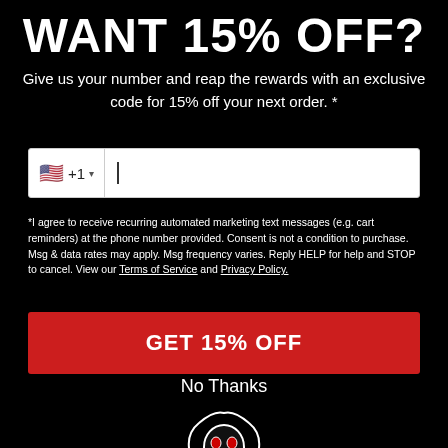WANT 15% OFF?
Give us your number and reap the rewards with an exclusive code for 15% off your next order. *
*I agree to receive recurring automated marketing text messages (e.g. cart reminders) at the phone number provided. Consent is not a condition to purchase. Msg & data rates may apply. Msg frequency varies. Reply HELP for help and STOP to cancel. View our Terms of Service and Privacy Policy.
GET 15% OFF
No Thanks
[Figure (illustration): Line art illustration of a grim reaper skull character holding a camera]